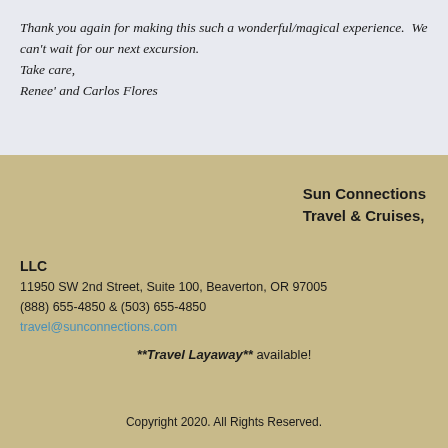Thank you again for making this such a wonderful/magical experience.  We can't wait for our next excursion.
Take care,
Renee' and Carlos Flores
Sun Connections Travel & Cruises, LLC
11950 SW 2nd Street, Suite 100, Beaverton, OR 97005
(888) 655-4850 & (503) 655-4850
travel@sunconnections.com
**Travel Layaway** available!
Copyright 2020. All Rights Reserved.